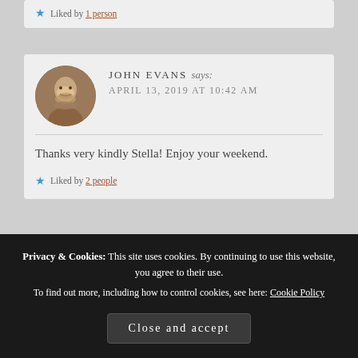Liked by 1 person
JOHN EVANS says: APRIL 13, 2019 AT 10:42 AM
Thanks very kindly Stella! Enjoy your weekend.
Liked by 2 people
STELLA says:
Privacy & Cookies: This site uses cookies. By continuing to use this website, you agree to their use. To find out more, including how to control cookies, see here: Cookie Policy
Close and accept